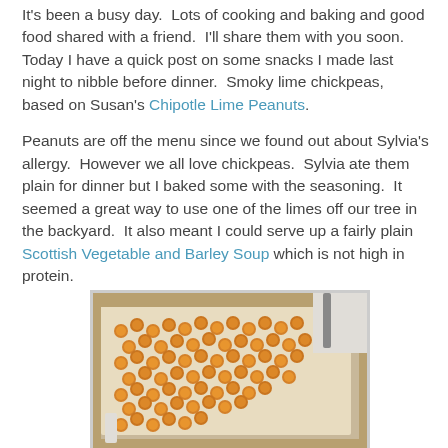It's been a busy day.  Lots of cooking and baking and good food shared with a friend.  I'll share them with you soon.  Today I have a quick post on some snacks I made last night to nibble before dinner.  Smoky lime chickpeas, based on Susan's Chipotle Lime Peanuts.
Peanuts are off the menu since we found out about Sylvia's allergy.  However we all love chickpeas.  Sylvia ate them plain for dinner but I baked some with the seasoning.  It seemed a great way to use one of the limes off our tree in the backyard.  It also meant I could serve up a fairly plain Scottish Vegetable and Barley Soup which is not high in protein.
[Figure (photo): A baking tray lined with parchment paper covered with golden-orange roasted chickpeas, with a stovetop visible in the background.]